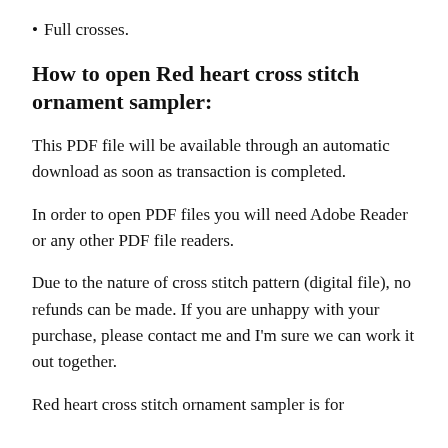Full crosses.
How to open Red heart cross stitch ornament sampler:
This PDF file will be available through an automatic download as soon as transaction is completed.
In order to open PDF files you will need Adobe Reader or any other PDF file readers.
Due to the nature of cross stitch pattern (digital file), no refunds can be made. If you are unhappy with your purchase, please contact me and I'm sure we can work it out together.
Red heart cross stitch ornament sampler is for